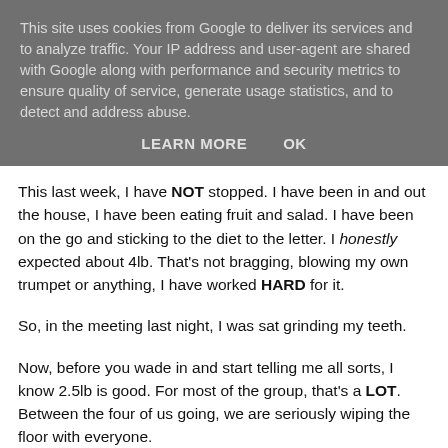This site uses cookies from Google to deliver its services and to analyze traffic. Your IP address and user-agent are shared with Google along with performance and security metrics to ensure quality of service, generate usage statistics, and to detect and address abuse.
LEARN MORE    OK
This last week, I have NOT stopped. I have been in and out the house, I have been eating fruit and salad. I have been on the go and sticking to the diet to the letter. I honestly expected about 4lb. That's not bragging, blowing my own trumpet or anything, I have worked HARD for it.
So, in the meeting last night, I was sat grinding my teeth.
Now, before you wade in and start telling me all sorts, I know 2.5lb is good. For most of the group, that's a LOT. Between the four of us going, we are seriously wiping the floor with everyone.
i...